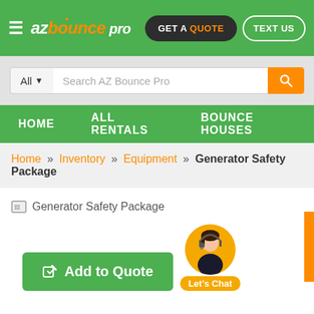az bounce pro | GET A QUOTE | TEXT US
All ▼  Search AZ Bounce Pro
HOME   ALL RENTALS   BOUNCE HOUSES
Home » Inventory » Equipment » Generator Safety Package
[Figure (other): Broken image placeholder for Generator Safety Package product image]
Generator Safety Package
Add to Quote
[Figure (other): Live chat widget with female customer service avatar and 'Let's Chat' label]